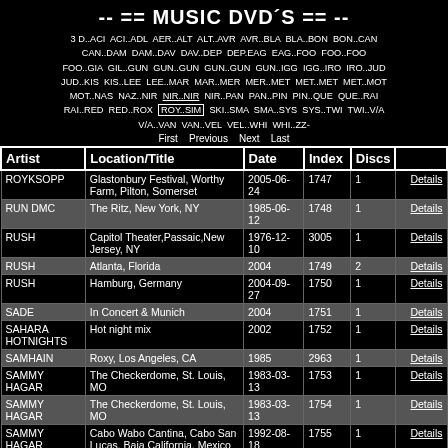-- == MUSIC DVD´S == --
3 D..ACI  ACI..ADL  AER..ALT  ALT..AVR  AVR..BLA  BLA..BON  BON..CAN  CAN..DAM  DAM..DAV  DAV..DEP  DEP.EAG  EAG..FOO  FOO..FOO  FOO..GIA  GIL..GUN  GUN..GUN  GUN..GUN  GUN..IGG  IGG..IRO  IRO..JUD  JUD..KIS  KIS..LEE  LEE..MAR  MAR..MER  MER..MET  MET..MET  MET..MOT  MOT..NAS  NAZ..NIR  NIR..NIR  NIR..PAN  PAN..PIN  PIN..QUE  QUE..RAI  RAI..RED  RED..ROX  ROY..SIM  SKI..SMA  SMA..SYS  SYS..TWI  TWI..V/A  V/A..VAN  VAN..VEL  VEL..WHI  WHI..ZZ-
First  Previous  Next  Last
| Artist | Location/Title | Date | Index | Discs |  |
| --- | --- | --- | --- | --- | --- |
| ROYKSOPP | Glastonbury Festival, Worthy Farm, Pilton, Somerset | 2005-06-24 | 1747 | 1 | Details |
| RUN DMC | The Ritz, New York, NY | 1985-06-12 | 1748 | 1 | Details |
| RUSH | Capitol Theater,Passaic,New Jersey, NY | 1976-12-10 | 3005 | 1 | Details |
| RUSH | Atlanta, Florida | 2004 | 1749 | 2 | Details |
| RUSH | Hamburg, Germany | 2004-09-27 | 1750 | 1 | Details |
| SADE | In Concert & Munich | 2004 | 1751 | 1 | Details |
| SAHARA HOTNIGHTS | Hot night mix | 2002 | 1752 | 1 | Details |
| SAMHAIN | Roxy, Los Angeles, CA | 1985 | 2963 | 1 | Details |
| SAMMY HAGAR | The Checkerdome, St. Louis, MO | 1983-03-13 | 1753 | 1 | Details |
| SAMMY HAGAR | The Checkerdome, St. Louis, MO | 1983-03-13 | 1754 | 1 | Details |
| SAMMY HAGAR | Cabo Wabo Cantina, Cabo San Lucas, Baja California, Mexico | 1992-08-18 | 1755 | 1 | Details |
| SAMMY | Cabo Wabo Cantina, Cabo San | 1992-08- | 175? | ? | Details |